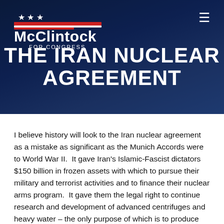[Figure (logo): McClintock for Congress logo with stars and red/white/blue stripes]
THE IRAN NUCLEAR AGREEMENT
I believe history will look to the Iran nuclear agreement as a mistake as significant as the Munich Accords were to World War II. It gave Iran's Islamic-Fascist dictators $150 billion in frozen assets with which to pursue their military and terrorist activities and to finance their nuclear arms program. It gave them the legal right to continue research and development of advanced centrifuges and heavy water – the only purpose of which is to produce nuclear weapons. It gave them legal access to the conventional arms market in five years and to